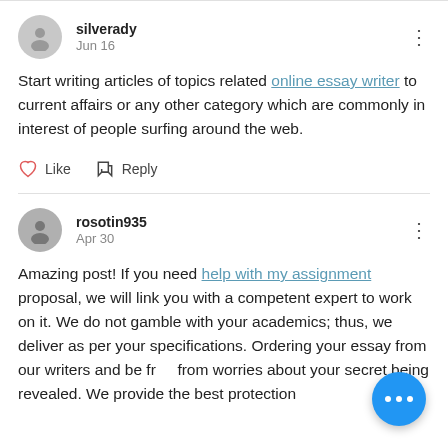silverady
Jun 16
Start writing articles of topics related online essay writer to current affairs or any other category which are commonly in interest of people surfing around the web.
rosotin935
Apr 30
Amazing post! If you need help with my assignment proposal, we will link you with a competent expert to work on it. We do not gamble with your academics; thus, we deliver as per your specifications. Ordering your essay from our writers and be free from worries about your secret being revealed. We provide the best protection